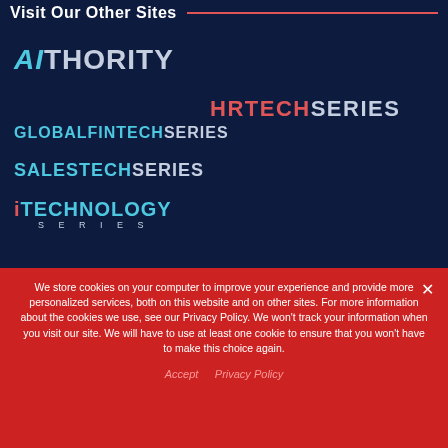Visit Our Other Sites
[Figure (logo): AIthority logo - stylized text with AI in cyan italic and THORITY in light blue]
[Figure (logo): HRTechSeries logo - HRTECH in red and SERIES in light blue]
[Figure (logo): GlobalFintechSeries logo - GLOBAL in cyan, FINTECH in red, SERIES in light blue]
[Figure (logo): SalesTechSeries logo - SALESTECH in cyan/red, SERIES in light blue]
[Figure (logo): iTechnology Series logo - i in red, TECHNOLOGY in cyan/light blue, SERIES in small caps below]
We store cookies on your computer to improve your experience and provide more personalized services, both on this website and on other sites. For more information about the cookies we use, see our Privacy Policy. We won't track your information when you visit our site. We will have to use at least one cookie to ensure that you won't have to make this choice again.
Accept  Privacy Policy